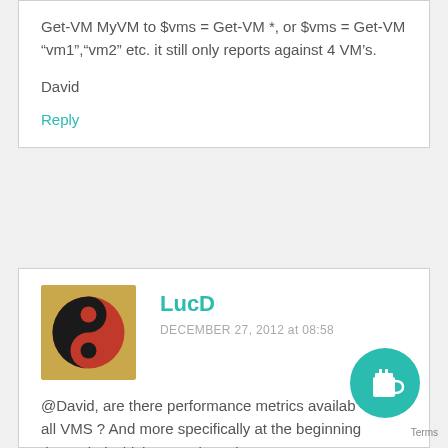Get-VM MyVM to $vms = Get-VM *, or $vms = Get-VM “vm1”,“vm2” etc. it still only reports against 4 VM’s.
David
Reply
LucD
DECEMBER 27, 2012 at 08:58
@David, are there performance metrics available for all VMS ? And more specifically at the beginning of the period which you selected ?